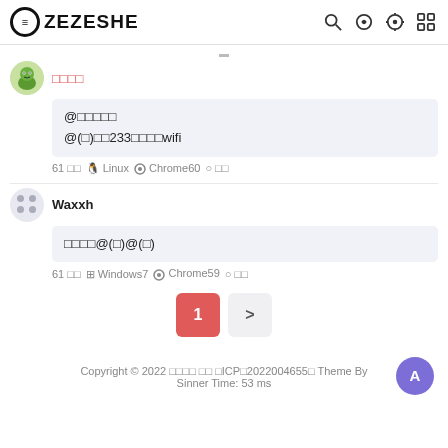ZEZESHE
□□□□
@□□□□□
@(□)□□233□□□□wifi
61 □□  Linux  Chrome60  □□
Waxxh
□□□□@(□)@(□)
61 □□  Windows7  Chrome59  □□
1  >
Copyright © 2022 □□□□ □□ □ICP□2022004655□ Theme By Sinner Time: 53 ms